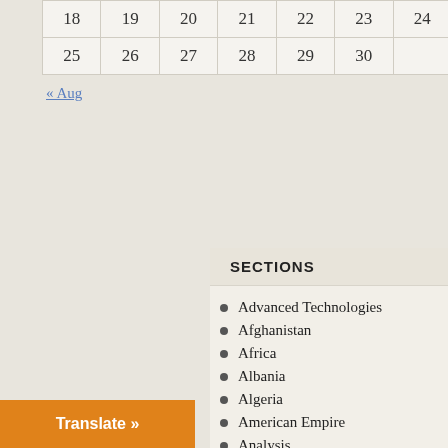| 18 | 19 | 20 | 21 | 22 | 23 | 24 |
| 25 | 26 | 27 | 28 | 29 | 30 |  |
« Aug
SECTIONS
Advanced Technologies
Afghanistan
Africa
Albania
Algeria
American Empire
Analysis
Ancient World
Architecture
Argentina